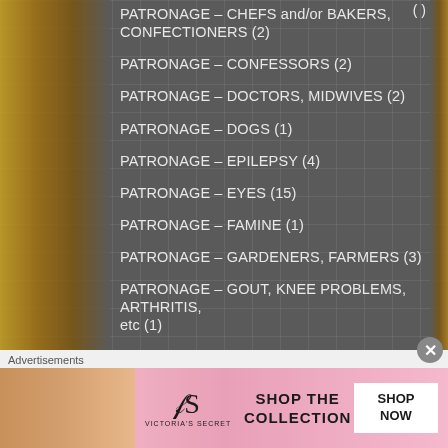PATRONAGE – CHEFS and/or BAKERS, CONFECTIONERS (2)
PATRONAGE – CONFESSORS (2)
PATRONAGE – DOCTORS, MIDWIVES (2)
PATRONAGE – DOGS (1)
PATRONAGE – EPILEPSY (4)
PATRONAGE – EYES (15)
PATRONAGE – FAMINE (1)
PATRONAGE – GARDENERS, FARMERS (3)
PATRONAGE – GOUT, KNEE PROBLEMS, ARTHRITIS, etc (1)
Advertisements
[Figure (screenshot): Victoria's Secret advertisement banner showing a model, VS logo, 'SHOP THE COLLECTION' text, and 'SHOP NOW' button]